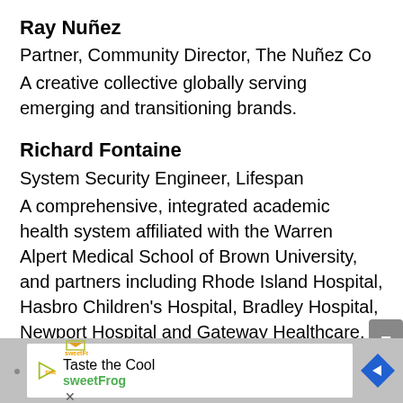Ray Nuñez
Partner, Community Director, The Nuñez Co
A creative collective globally serving emerging and transitioning brands.
Richard Fontaine
System Security Engineer, Lifespan
A comprehensive, integrated academic health system affiliated with the Warren Alpert Medical School of Brown University, and partners including Rhode Island Hospital, Hasbro Children's Hospital, Bradley Hospital, Newport Hospital and Gateway Healthcare.
[Figure (other): Advertisement banner for sweetFrog featuring 'Taste the Cool' tagline with sweetFrog branding and a navigation arrow icon]